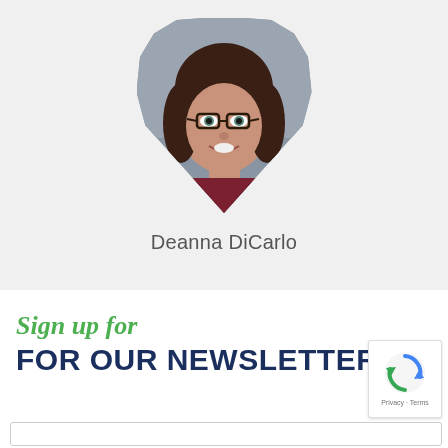[Figure (photo): Circular/teardrop profile photo of Deanna DiCarlo, a woman with long dark hair and glasses, smiling, on a grey background]
Deanna DiCarlo
Sign up for
FOR OUR NEWSLETTER
[Figure (logo): Google reCAPTCHA badge with circular arrows icon and 'Privacy · Terms' text]